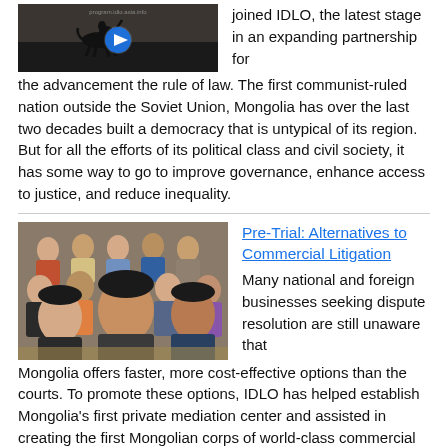[Figure (photo): Dark thumbnail image showing a silhouette of a horse and rider with a play button overlay]
joined IDLO, the latest stage in an expanding partnership for the advancement the rule of law. The first communist-ruled nation outside the Soviet Union, Mongolia has over the last two decades built a democracy that is untypical of its region. But for all the efforts of its political class and civil society, it has some way to go to improve governance, enhance access to justice, and reduce inequality.
[Figure (photo): Group of people seated in classroom-style setting, appearing to be students or attendees at a seminar or training session]
Pre-Trial: Alternatives to Commercial Litigation
Many national and foreign businesses seeking dispute resolution are still unaware that Mongolia offers faster, more cost-effective options than the courts. To promote these options, IDLO has helped establish Mongolia's first private mediation center and assisted in creating the first Mongolian corps of world-class commercial mediators. Established at the Mongolian National Chamber of Commerce and Industry, with main premises in Ulaanbaatar and a branch office in the second largest city of Darkhan, the center benefits from close proximity to Mongolia's business community.